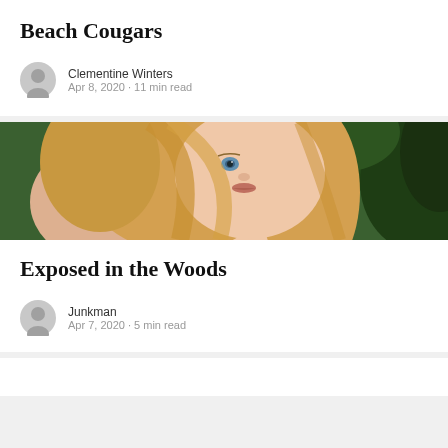Beach Cougars
Clementine Winters
Apr 8, 2020 · 11 min read
[Figure (photo): Close-up photo of a young blonde woman with blue eyes against a green foliage background]
Exposed in the Woods
Junkman
Apr 7, 2020 · 5 min read